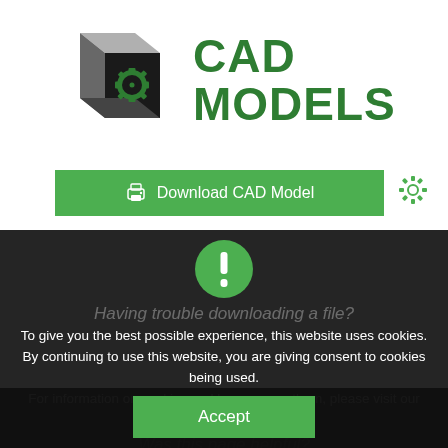[Figure (logo): 3D cube logo with gear icon on front face, gray and black coloring, green gear symbol]
CAD MODELS
[Figure (other): Download CAD Model green button with printer icon, and a green gear settings icon to the right]
[Figure (other): Green circle with white exclamation mark alert icon]
Having trouble downloading a file?
To give you the best possible experience, this website uses cookies. By continuing to use this website, you are giving consent to cookies being used.
For information on cookies and how we use them, please visit our Privacy and Cookie Policy
Was this page helpful?
Accept